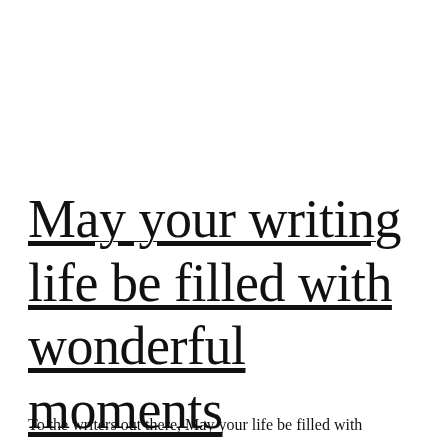May your writing life be filled with wonderful moments
To the writers out there, May your life be filled with